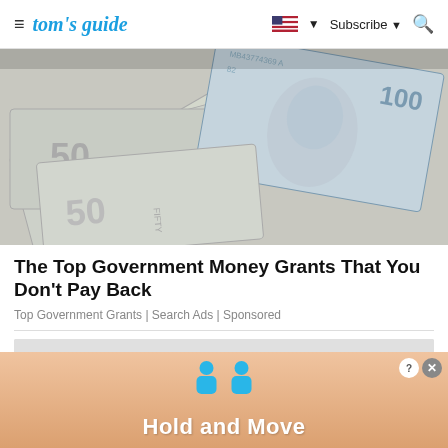tom's guide | Subscribe
[Figure (photo): Fanned out US $50 and $100 dollar bills photographed from above]
The Top Government Money Grants That You Don't Pay Back
Top Government Grants | Search Ads | Sponsored
[Figure (infographic): Hold and Move advertisement banner with two blue figure icons and peach/tan colored background]